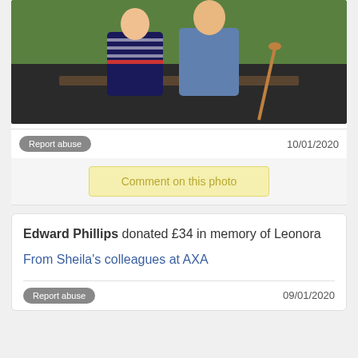[Figure (photo): Two people sitting outdoors on a bench with green grass in the background. One person wears a striped top and dark skirt, the other wears a blue plaid shirt and tan trousers. A walking cane is visible.]
Report abuse
10/01/2020
Comment on this photo
Edward Phillips donated £34 in memory of Leonora
From Sheila's colleagues at AXA
Report abuse
09/01/2020